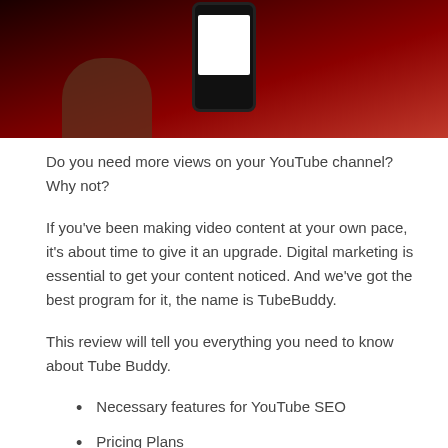[Figure (photo): A hand holding a smartphone with a white screen, against a dark red background.]
Do you need more views on your YouTube channel? Why not?
If you've been making video content at your own pace, it's about time to give it an upgrade. Digital marketing is essential to get your content noticed. And we've got the best program for it, the name is TubeBuddy.
This review will tell you everything you need to know about Tube Buddy.
Necessary features for YouTube SEO
Pricing Plans
Comparisons to existing applications
Gauging if TubeBuddy is worth the price